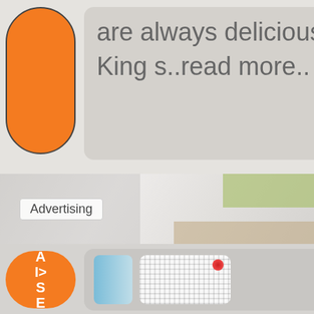[Figure (screenshot): Orange rounded pill/button element at top left]
are always delicious and with the King s..read more..
[Figure (photo): Partially visible right card, grey background]
[Figure (photo): Middle advertising banner with blurred background, green and brown color patches]
Advertising
[Figure (screenshot): Orange rounded pill button at bottom left with text A I > S E]
[Figure (screenshot): Bottom card with blue gradient bar and pixelated/QR code style image with red dot]
[Figure (screenshot): Partially visible right bottom card with blue arrow icon]